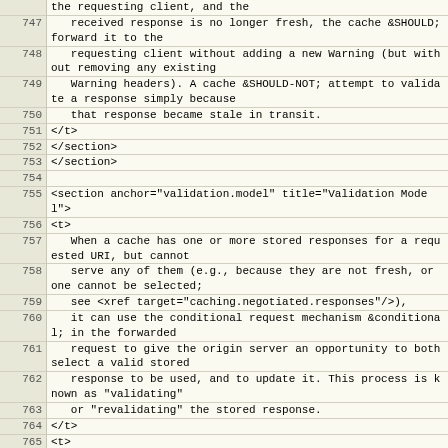| line | code |
| --- | --- |
|  | the requesting client, and the |
| 747 |    received response is no longer fresh, the cache &SHOULD; forward it to the |
| 748 |    requesting client without adding a new Warning (but without removing any existing |
| 749 |    Warning headers). A cache &SHOULD-NOT; attempt to validate a response simply because |
| 750 |    that response became stale in transit. |
| 751 | </t> |
| 752 | </section> |
| 753 | </section> |
| 754 |  |
| 755 | <section anchor="validation.model" title="Validation Model"> |
| 756 | <t> |
| 757 |    When a cache has one or more stored responses for a requested URI, but cannot |
| 758 |    serve any of them (e.g., because they are not fresh, or one cannot be selected; |
| 759 |    see <xref target="caching.negotiated.responses"/>), |
| 760 |    it can use the conditional request mechanism &conditional; in the forwarded |
| 761 |    request to give the origin server an opportunity to both select a valid stored |
| 762 |    response to be used, and to update it. This process is known as "validating" |
| 763 |    or "revalidating" the stored response. |
| 764 | </t> |
| 765 | <t> |
| 766 |    When sending such a conditional request, the cache &SHOULD; add an If-Modified-Since |
| 767 |    header whose value is that of the Last-Modified header from the selected |
| 768 |    (see <xref target="caching.negotiated.responses"/>) |